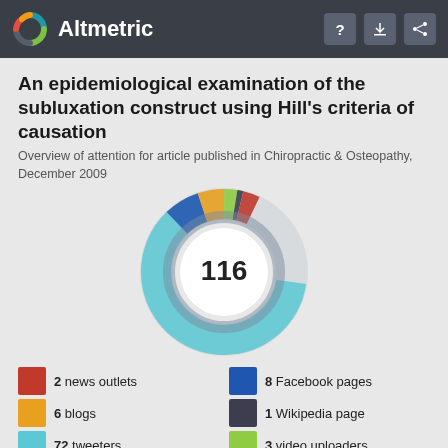Altmetric
An epidemiological examination of the subluxation construct using Hill's criteria of causation
Overview of attention for article published in Chiropractic & Osteopathy, December 2009
[Figure (donut-chart): Altmetric donut chart showing score of 116 in the center, with colored arcs representing different attention sources: news outlets (red), blogs (orange), tweeters (light blue), Facebook pages (blue), Wikipedia (dark gray), video uploaders (green).]
2 news outlets
6 blogs
72 tweeters
8 Facebook pages
1 Wikipedia page
3 video uploaders